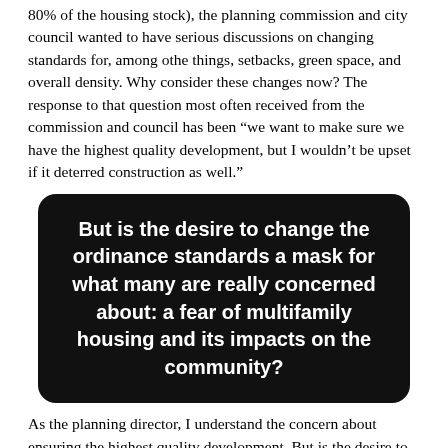...community, large) compared to large-scale rentals (roughly 80% of the housing stock), the planning commission and city council wanted to have serious discussions on changing standards for, among othe things, setbacks, green space, and overall density. Why consider these changes now? The response to that question most often received from the commission and council has been “we want to make sure we have the highest quality development, but I wouldn’t be upset if it deterred construction as well.”
[Figure (infographic): Black rounded rectangle pull quote with white bold text: 'But is the desire to change the ordinance standards a mask for what many are really concerned about: a fear of multifamily housing and its impacts on the community?']
As the planning director, I understand the concern about ensuring the highest quality development. But is the desire to